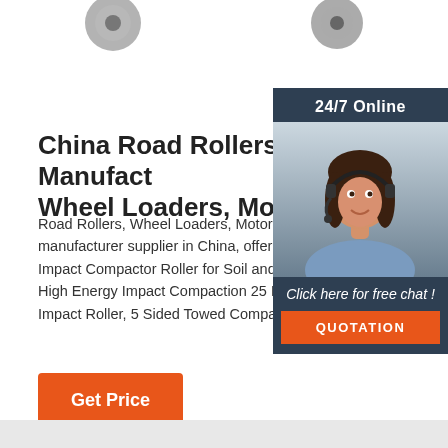[Figure (illustration): Partial product wheel/roller icons cropped at top of page]
[Figure (photo): 24/7 Online chat widget with woman wearing headset, dark blue background, 'Click here for free chat!' text and orange QUOTATION button]
China Road Rollers Manufacturers, Wheel Loaders, Motor ...
Road Rollers, Wheel Loaders, Motor Graders manufacturer supplier in China, offering Penta Sided Impact Compactor Roller for Soil and G Compaction, High Energy Impact Compaction 25 Kj Pentagon Impact Roller, 5 Sided Towed Compactors 12 …
Get Price